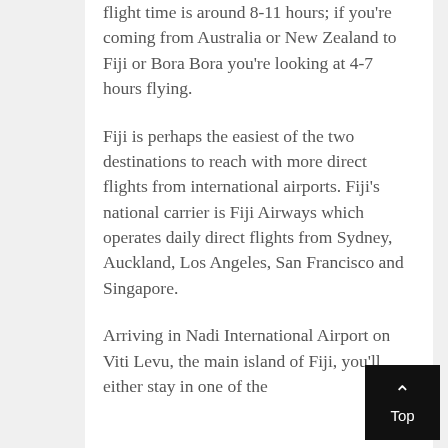flight time is around 8-11 hours; if you're coming from Australia or New Zealand to Fiji or Bora Bora you're looking at 4-7 hours flying.
Fiji is perhaps the easiest of the two destinations to reach with more direct flights from international airports. Fiji's national carrier is Fiji Airways which operates daily direct flights from Sydney, Auckland, Los Angeles, San Francisco and Singapore.
Arriving in Nadi International Airport on Viti Levu, the main island of Fiji, you'll either stay in one of the